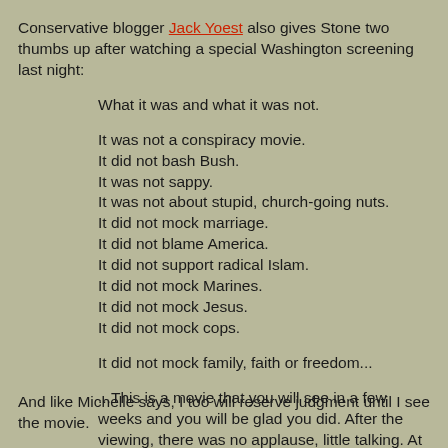Conservative blogger Jack Yoest also gives Stone two thumbs up after watching a special Washington screening last night:
What it was and what it was not.
It was not a conspiracy movie.
It did not bash Bush.
It was not sappy.
It was not about stupid, church-going nuts.
It did not mock marriage.
It did not blame America.
It did not support radical Islam.
It did not mock Marines.
It did not mock Jesus.
It did not mock cops.
It did not mock family, faith or freedom...
...This is a movie that you will see in a few weeks and you will be glad you did. After the viewing, there was no applause, little talking. At the end, the crowd audibly exhaled, as one.
And like Michelle says, I too will reserve judgment until I see the movie.